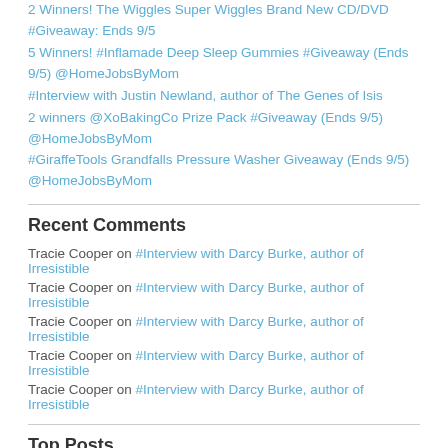2 Winners! The Wiggles Super Wiggles Brand New CD/DVD #Giveaway: Ends 9/5
5 Winners! #Inflamade Deep Sleep Gummies #Giveaway (Ends 9/5) @HomeJobsByMom
#Interview with Justin Newland, author of The Genes of Isis
2 winners @XoBakingCo Prize Pack #Giveaway (Ends 9/5) @HomeJobsByMom
#GiraffeTools Grandfalls Pressure Washer Giveaway (Ends 9/5) @HomeJobsByMom
Recent Comments
Tracie Cooper on #Interview with Darcy Burke, author of Irresistible
Tracie Cooper on #Interview with Darcy Burke, author of Irresistible
Tracie Cooper on #Interview with Darcy Burke, author of Irresistible
Tracie Cooper on #Interview with Darcy Burke, author of Irresistible
Tracie Cooper on #Interview with Darcy Burke, author of Irresistible
Top Posts
[Figure (photo): Purple image with text '10 Purple Rain Cocktails' in dark overlay with purple background]
10 Purple Rain Cocktails - RIP Prince